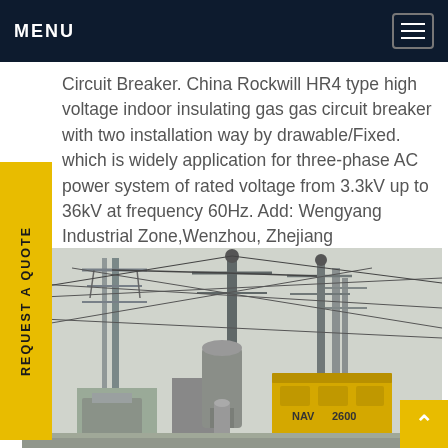MENU
Circuit Breaker. China Rockwill HR4 type high voltage indoor insulating gas gas circuit breaker with two installation way by drawable/Fixed. which is widely application for three-phase AC power system of rated voltage from 3.3kV up to 36kV at frequency 60Hz. Add: Wengyang Industrial Zone,Wenzhou, Zhejiang Province,China.Get price
[Figure (photo): Outdoor electrical substation with high-voltage transmission towers, power lines, and yellow equipment marked '2600' and 'NAV']
REQUEST A QUOTE